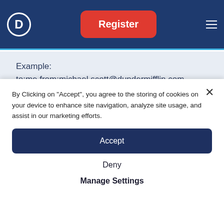[Figure (screenshot): Website navigation bar with dark navy background, a circular logo with 'D' on the left, a red 'Register' button in the center, and a hamburger menu icon on the right]
Example:
to:me from:michael.scott@dundermifflin.com
By Clicking on "Accept", you agree to the storing of cookies on your device to enhance site navigation, analyze site usage, and assist in our marketing efforts.
Accept
Deny
Manage Settings